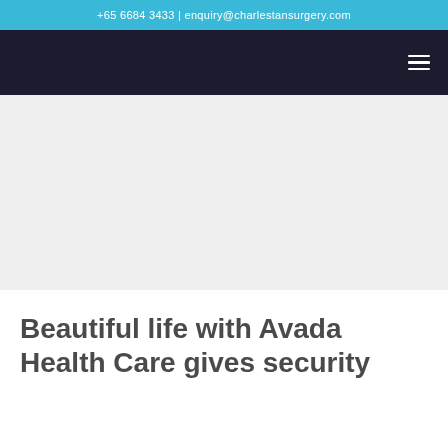+65 6684 3433 | enquiry@charlestansurgery.com
[Figure (other): Navigation bar with dark background and hamburger menu icon on the right]
[Figure (other): Light gray hero section area]
Beautiful life with Avada Health Care gives security